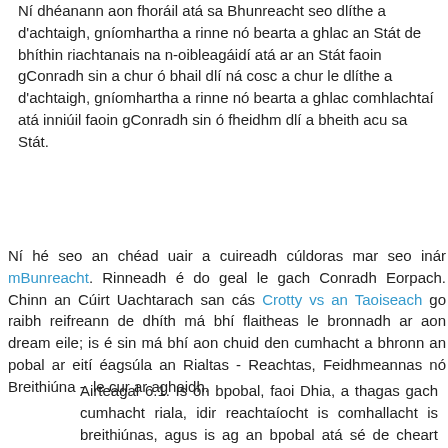Ní dhéanann aon fhoráil atá sa Bhunreacht seo dlíthe a d'achtaigh, gníomhartha a rinne nó bearta a ghlac an Stát de bhíthin riachtanais na n-oibleagáidí atá ar an Stát faoin gConradh sin a chur ó bhail dlí ná cosc a chur le dlíthe a d'achtaigh, gníomhartha a rinne nó bearta a ghlac comhlachtaí atá inniúil faoin gConradh sin ó fheidhm dlí a bheith acu sa Stát.
Ní hé seo an chéad uair a cuireadh cúldoras mar seo inár mBunreacht. Rinneadh é do geal le gach Conradh Eorpach. Chinn an Cúirt Uachtarach san cás Crotty vs an Taoiseach go raibh reifreann de dhíth má bhí flaitheas le bronnadh ar aon dream eile; is é sin má bhí aon chuid den cumhacht a bhronn an pobal ar eití éagsúla an Rialtas - Reachtas, Feidhmeannas nó Breithiúna -  le cur ar aghaidh.
Airteagal 6.1. Is ón bpobal, faoi Dhia, a thagas gach cumhacht riala, idir reachtaíocht is comhallacht is breithiúnas, agus is ag an bpobal atá sé de cheart rialtóirí an Stáit a cheapadh, agus is faoin bpobal faoi dheoidh atá gach ceist i dtaobh beartas an Náisiúin a shocrú de réir mar